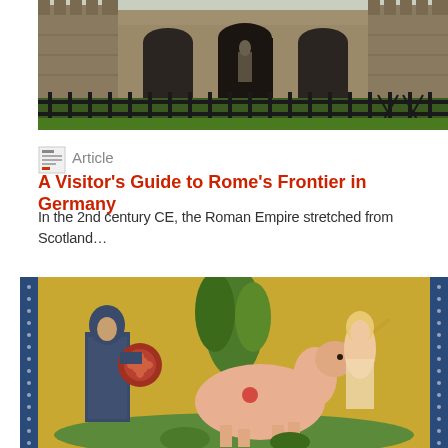[Figure (photo): Photograph of a Roman stone fortress/castle with arched gateways and black fencing in the foreground, with a statue visible through the arch.]
Article
A Visitor's Guide to Rome's Frontier in Germany
In the 2nd century CE, the Roman Empire stretched from Scotland…
[Figure (illustration): Medieval illuminated manuscript illustration depicting a knight in chainmail with a round shield confronting a unicorn being tamed by a maiden, on a golden background with decorative blue borders.]